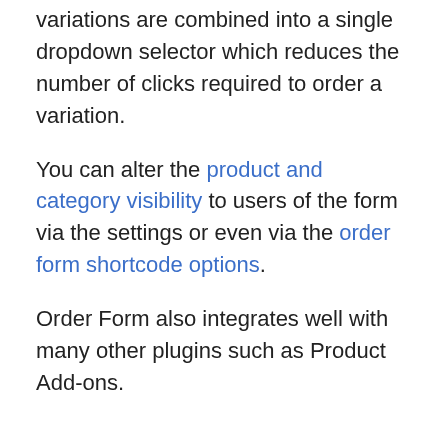variations are combined into a single dropdown selector which reduces the number of clicks required to order a variation.
You can alter the product and category visibility to users of the form via the settings or even via the order form shortcode options.
Order Form also integrates well with many other plugins such as Product Add-ons.
3. Wholesale Lead Capture – For Wholesale User